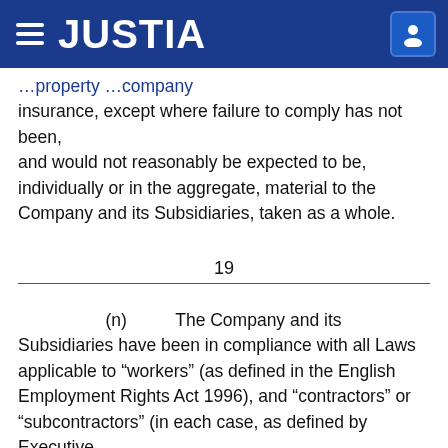JUSTIA
insurance, except where failure to comply has not been, and would not reasonably be expected to be, individually or in the aggregate, material to the Company and its Subsidiaries, taken as a whole.
19
(n)        The Company and its Subsidiaries have been in compliance with all Laws applicable to “workers” (as defined in the English Employment Rights Act 1996), and “contractors” or “subcontractors” (in each case, as defined by Executive Order 11246), except where failure to comply has not been, and would not reasonably be expected to be,